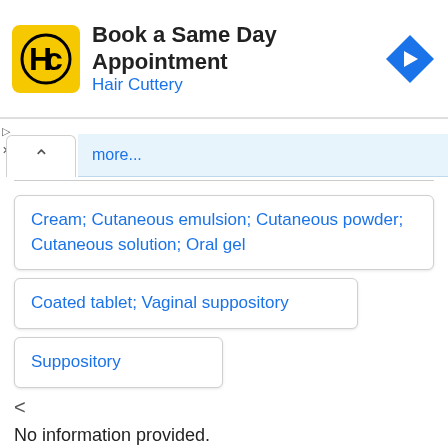[Figure (screenshot): Advertisement banner for Hair Cuttery booking a Same Day Appointment with yellow logo and blue navigation arrow]
more...
Cream; Cutaneous emulsion; Cutaneous powder; Cutaneous solution; Oral gel
Coated tablet; Vaginal suppository
Suppository
<
No information provided.
Special warnings and precautions for use